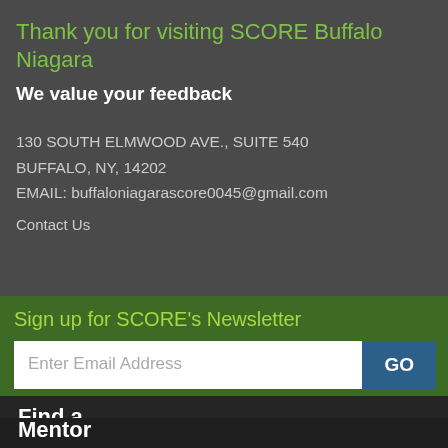Thank you for visiting SCORE Buffalo Niagara
We value your feedback
130 SOUTH ELMWOOD AVE., SUITE 540
BUFFALO, NY, 14202
EMAIL: buffaloniagarascore0045@gmail.com
Contact Us
Sign up for SCORE's Newsletter
Enter Email Address
GO
Find a
Mentor
Browse